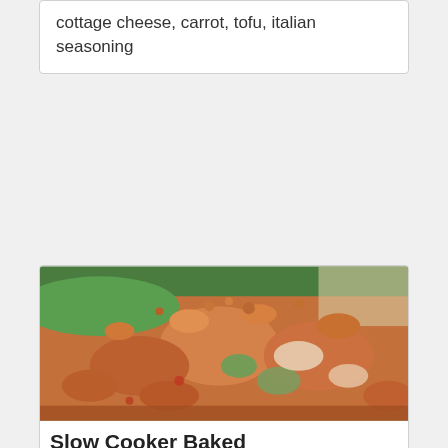cottage cheese, carrot, tofu, italian seasoning
[Figure (photo): Close-up photo of a slow cooker baked dish with crumbled toppings, zucchini, cheese, and meat sauce in a green bowl]
Slow Cooker Baked